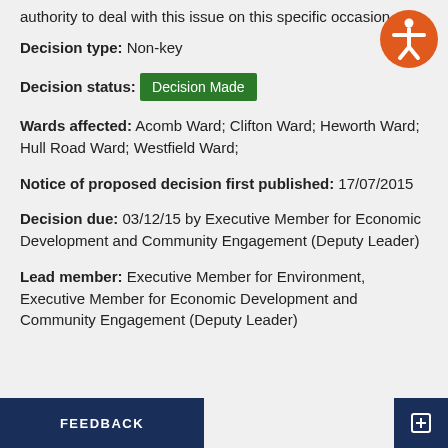authority to deal with this issue on this specific occasion
Decision type: Non-key
Decision status: Decision Made
Wards affected: Acomb Ward; Clifton Ward; Heworth Ward; Hull Road Ward; Westfield Ward;
Notice of proposed decision first published: 17/07/2015
Decision due: 03/12/15 by Executive Member for Economic Development and Community Engagement (Deputy Leader)
Lead member: Executive Member for Environment, Executive Member for Economic Development and Community Engagement (Deputy Leader)
FEEDBACK